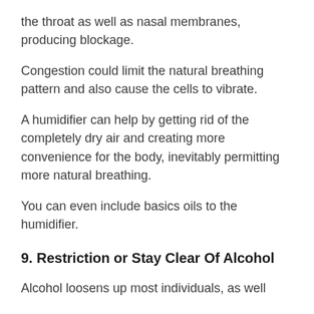the throat as well as nasal membranes, producing blockage.
Congestion could limit the natural breathing pattern and also cause the cells to vibrate.
A humidifier can help by getting rid of the completely dry air and creating more convenience for the body, inevitably permitting more natural breathing.
You can even include basics oils to the humidifier.
9. Restriction or Stay Clear Of Alcohol
Alcohol loosens up most individuals, as well